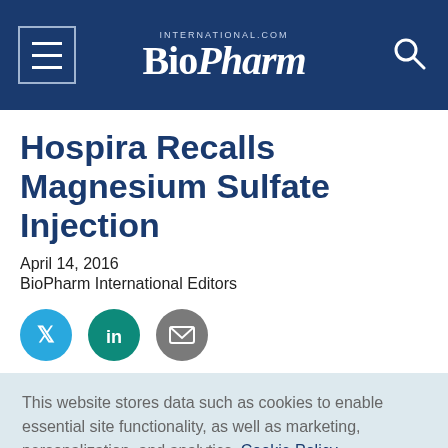BioPharm International
Hospira Recalls Magnesium Sulfate Injection
April 14, 2016
BioPharm International Editors
[Figure (infographic): Social sharing icons: Twitter (blue circle), LinkedIn (teal circle), Email (gray circle)]
This website stores data such as cookies to enable essential site functionality, as well as marketing, personalization, and analytics. Cookie Policy
Accept
Deny